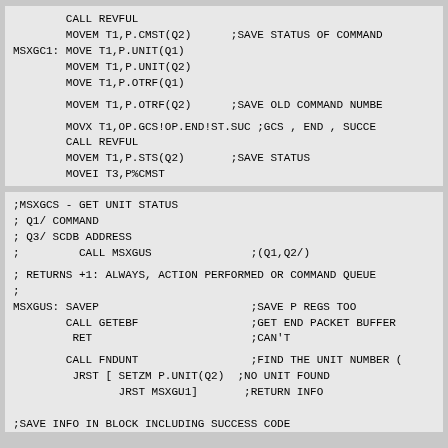CALL REVFUL
        MOVEM T1,P.CMST(Q2)      ;SAVE STATUS OF COMMAND
MSXGC1: MOVE T1,P.UNIT(Q1)
        MOVEM T1,P.UNIT(Q2)
        MOVE T1,P.OTRF(Q1)
        MOVEM T1,P.OTRF(Q2)      ;SAVE OLD COMMAND NUMBER
        MOVX T1,OP.GCS!OP.END!ST.SUC ;GCS , END , SUCCESS
        CALL REVFUL
        MOVEM T1,P.STS(Q2)       ;SAVE STATUS
        MOVEI T3,P%CMST
        CALLRET SNDEND            ;SEND END PACKET
;MSXGCS - GET UNIT STATUS
; Q1/ COMMAND
; Q3/ SCDB ADDRESS
;         CALL MSXGUS               ;(Q1,Q2/)
; RETURNS +1: ALWAYS, ACTION PERFORMED OR COMMAND QUEUED
;
MSXGUS: SAVEP                       ;SAVE P REGS TOO
        CALL GETEBF                 ;GET END PACKET BUFFER
         RET                        ;CAN'T
        CALL FNDUNT                 ;FIND THE UNIT NUMBER (Q
         JRST [ SETZM P.UNIT(Q2)  ;NO UNIT FOUND
                JRST MSXGU1]       ;RETURN INFO

;SAVE INFO IN BLOCK INCLUDING SUCCESS CODE

        CALL REVW2                  ;SAVE UNIT NUMBER (MAY